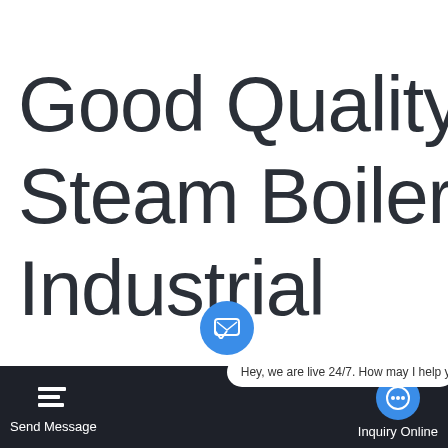Good Quality 2 Ton Steam Boiler Agent For Industrial
[Figure (screenshot): Website sidebar widget with Chat, Email, and Contact buttons on a dark grey background]
[Figure (screenshot): Website bottom navigation bar with Send Message, live chat bubble, chat input showing 'Hey, we are live 24/7. How may I help you?', and Inquiry Online button]